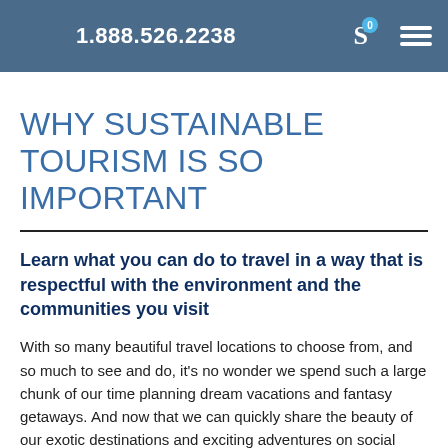1.888.526.2238
WHY SUSTAINABLE TOURISM IS SO IMPORTANT
Learn what you can do to travel in a way that is respectful with the environment and the communities you visit
With so many beautiful travel locations to choose from, and so much to see and do, it's no wonder we spend such a large chunk of our time planning dream vacations and fantasy getaways. And now that we can quickly share the beauty of our exotic destinations and exciting adventures on social media for all our friends and relatives to see, people are adding more destinations to their travel lists every day. The